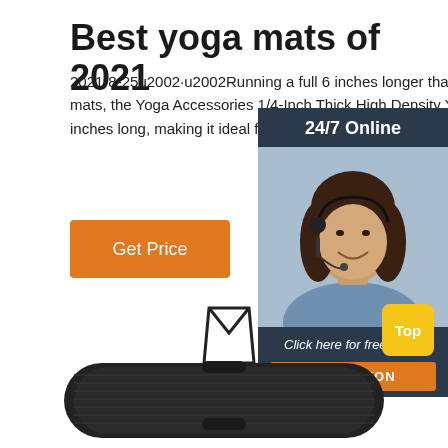Best yoga mats of 2021
2021-8-25u2002·u2002Running a full 6 inches longer than standard mats, the Yoga Accessories 1/4-Inch Thick High Density Yoga Mat is 7 inches long, making it ideal for our tallest folks out there. Rhis latex- and ...
Get Price
[Figure (photo): Customer service widget with '24/7 Online' header, photo of a smiling woman with headset, 'Click here for free chat!' text, and orange QUOTATION button]
Top
[Figure (photo): Black rolled yoga mat with carrying strap, partially visible at bottom of page]